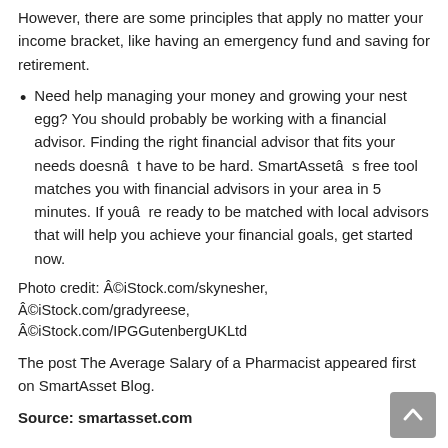However, there are some principles that apply no matter your income bracket, like having an emergency fund and saving for retirement.
Need help managing your money and growing your nest egg? You should probably be working with a financial advisor. Finding the right financial advisor that fits your needs doesnât have to be hard. SmartAssetâs free tool matches you with financial advisors in your area in 5 minutes. If youâre ready to be matched with local advisors that will help you achieve your financial goals, get started now.
Photo credit: Â©iStock.com/skynesher, Â©iStock.com/gradyreese, Â©iStock.com/IPGGutenbergUKLtd
The post The Average Salary of a Pharmacist appeared first on SmartAsset Blog.
Source: smartasset.com